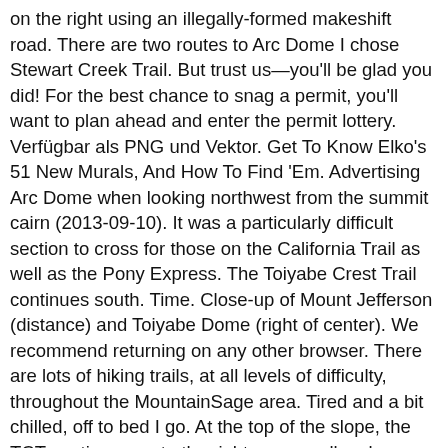on the right using an illegally-formed makeshift road. There are two routes to Arc Dome I chose Stewart Creek Trail. But trust us—you'll be glad you did! For the best chance to snag a permit, you'll want to plan ahead and enter the permit lottery. Verfügbar als PNG und Vektor. Get To Know Elko's 51 New Murals, And How To Find 'Em. Advertising Arc Dome when looking northwest from the summit cairn (2013-09-10). It was a particularly difficult section to cross for those on the California Trail as well as the Pony Express. The Toiyabe Crest Trail continues south. Time. Close-up of Mount Jefferson (distance) and Toiyabe Dome (right of center). We recommend returning on any other browser. There are lots of hiking trails, at all levels of difficulty, throughout the MountainSage area. Tired and a bit chilled, off to bed I go. At the top of the slope, the TCT continues up to the right on a small rocky section to gain the ridge above. 1413 Arc Dome Ave was built in 2009. A site for all van lovers or those who love to travel with a van or campervan all over the world. It is above the timberline with views more